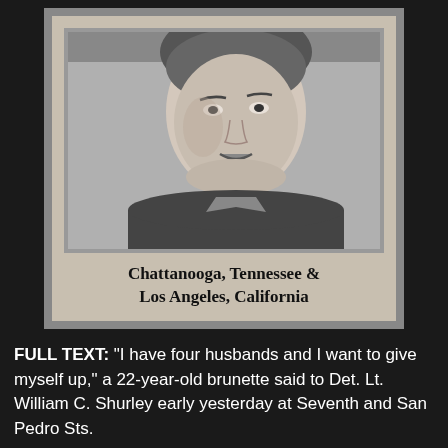[Figure (photo): Black and white mugshot-style portrait photograph of a woman (Martha Elizabeth Downey), with location caption below]
Chattanooga, Tennessee & Los Angeles, California
FULL TEXT: “I have four husbands and I want to give myself up,” a 22-year-old brunette said to Det. Lt. William C. Shurley early yesterday at Seventh and San Pedro Sts.
The woman, Martha Elizabeth Downey of Chattanooga, Tenn., said she is living now at 1016 E. Seventh St. and has been receiving government allotment checks because three of her husbands are servicemen.
Police booked her at Lincoln Heights Jail on suspicion of